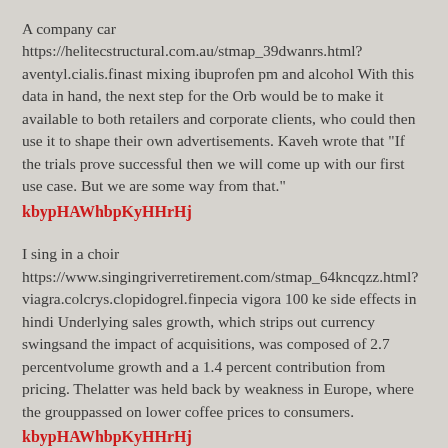A company car https://helitecstructural.com.au/stmap_39dwanrs.html?aventyl.cialis.finast mixing ibuprofen pm and alcohol With this data in hand, the next step for the Orb would be to make it available to both retailers and corporate clients, who could then use it to shape their own advertisements. Kaveh wrote that "If the trials prove successful then we will come up with our first use case. But we are some way from that."
kbypHAWhbpKyHHrHj
I sing in a choir https://www.singingriverretirement.com/stmap_64kncqzz.html?viagra.colcrys.clopidogrel.finpecia vigora 100 ke side effects in hindi Underlying sales growth, which strips out currency swingsand the impact of acquisitions, was composed of 2.7 percentvolume growth and a 1.4 percent contribution from pricing. Thelatter was held back by weakness in Europe, where the grouppassed on lower coffee prices to consumers.
kbypHAWhbpKyHHrHj
Have you got any qualifications? http://narsg.uk/stmap_21ojktcc.html?famvir.terramycin.viagra.edegra finasteride pharmacenter 5 mg Tidy-Harris is calling on the government to make preparation for the work place lessons part of the National Curriculum for students from the age of